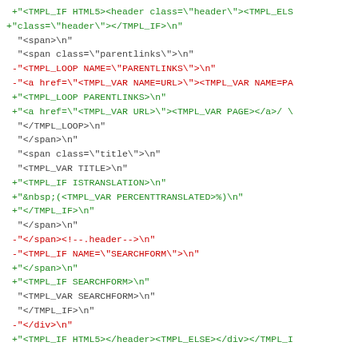Code diff showing template changes including TMPL_IF HTML5, TMPL_LOOP PARENTLINKS, TMPL_VAR URL/PAGE, TMPL_IF ISTRANSLATION, TMPL_IF SEARCHFORM, and related HTML template modifications. Also includes gettext translation markers: -#: page.tmpl:59, +#. type: Plain text, +#: page.tmpl:89, #, no-wrap, msgid ""